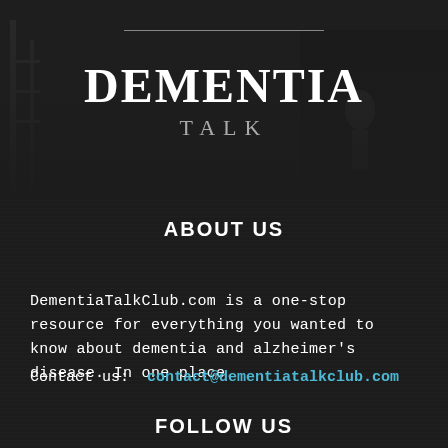[Figure (illustration): Dark background with blurred architectural/city scene image in the upper portion of the page, with a thin horizontal divider line near the top]
DEMENTIA TALK
ABOUT US
DementiaTalkClub.com is a one-stop resource for everything you wanted to know about dementia and alzheimer's disease. In one place.
Contact us:  contact@dementiatalkclub.com
FOLLOW US